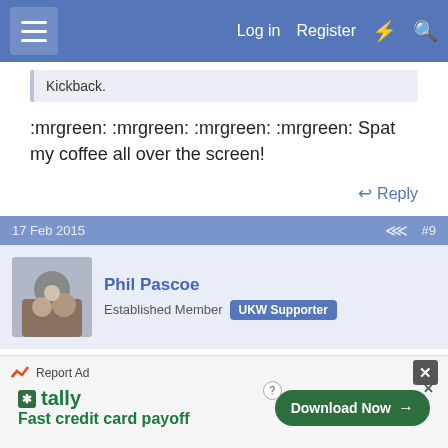Log in  Register
Kickback.
:mrgreen: :mrgreen: :mrgreen: :mrgreen: Spat my coffee all over the screen!
Reply
17 Feb 2015  #9
Phil Pascoe
Established Member  UKW Supporter
I'm obviously missing something... :?
Report Ad
Fast credit card payoff
Download Now